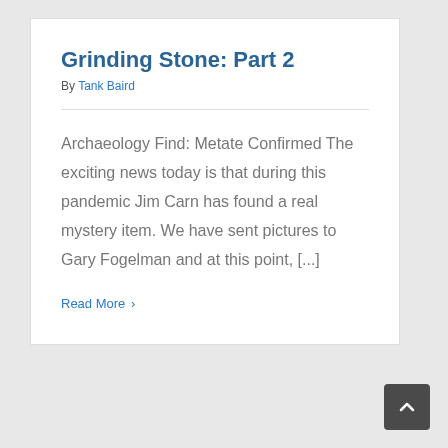Grinding Stone: Part 2
By Tank Baird
Archaeology Find: Metate Confirmed The exciting news today is that during this pandemic Jim Carn has found a real mystery item. We have sent pictures to Gary Fogelman and at this point, [...]
Read More >